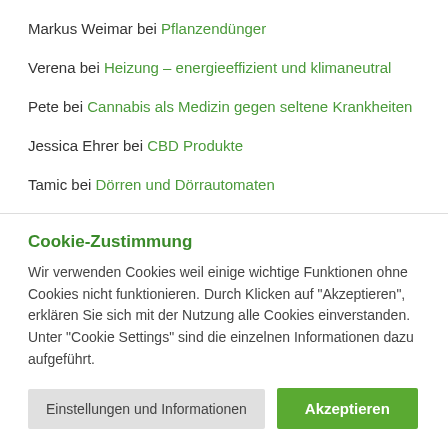Markus Weimar bei Pflanzendünger
Verena bei Heizung – energieeffizient und klimaneutral
Pete bei Cannabis als Medizin gegen seltene Krankheiten
Jessica Ehrer bei CBD Produkte
Tamic bei Dörren und Dörrautomaten
Cookie-Zustimmung
Wir verwenden Cookies weil einige wichtige Funktionen ohne Cookies nicht funktionieren. Durch Klicken auf "Akzeptieren", erklären Sie sich mit der Nutzung alle Cookies einverstanden. Unter "Cookie Settings" sind die einzelnen Informationen dazu aufgeführt.
Einstellungen und Informationen | Akzeptieren